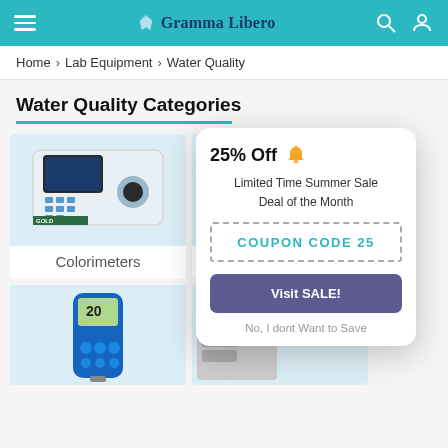Gramma Libero
Home > Lab Equipment > Water Quality
Water Quality Categories
[Figure (screenshot): Photo of a lab colorimeter instrument with keypad and LCD screen, brand label GOLD at bottom]
Colorimeters
[Figure (screenshot): Partially visible lab instrument with GOLD label, cut off by popup overlay]
[Figure (screenshot): Portable handheld water quality meter with blue casing and LCD showing '20']
[Figure (infographic): Popup modal overlay showing: 25% Off (with bell icon), Limited Time Summer Sale Deal of the Month, dashed coupon box with COUPON CODE 25, Visit SALE! button, No I dont Want to Save link]
25% Off
Limited Time Summer Sale
Deal of the Month
COUPON CODE 25
Visit SALE!
No, I dont Want to Save